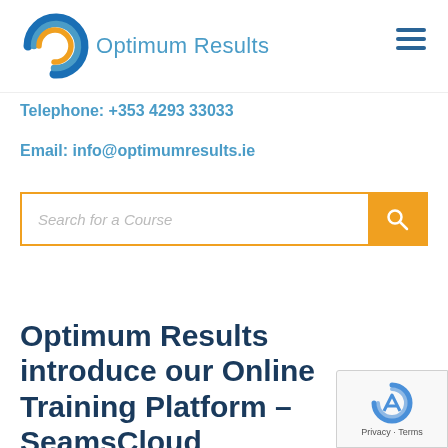Optimum Results
Telephone: +353 4293 33033
Email: info@optimumresults.ie
Optimum Results introduce our Online Training Platform – SeamsCloud